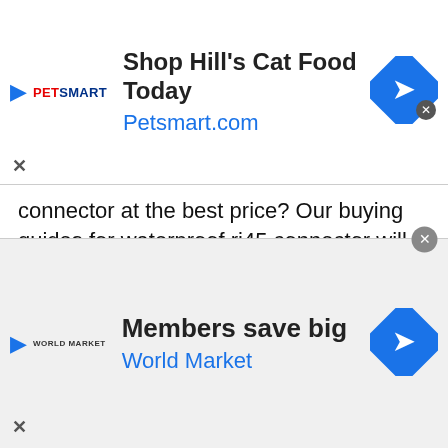[Figure (other): PetSmart advertisement banner: 'Shop Hill's Cat Food Today' with Petsmart.com link, PetSmart logo, diamond arrow icon, and close button]
connector at the best price? Our buying guides for waterproof rj45 connector will help you to find the best suitable one for you.  We always being on the lookout for the trendy, popular product that fits you perfectly. It can quickly cost you time and energy if you are in a mess of deciding which waterproof rj45 connector to buy.

That is why we have decided to help you in
[Figure (other): World Market advertisement banner: 'Members save big' with World Market link, World Market logo, diamond arrow icon, and close button]